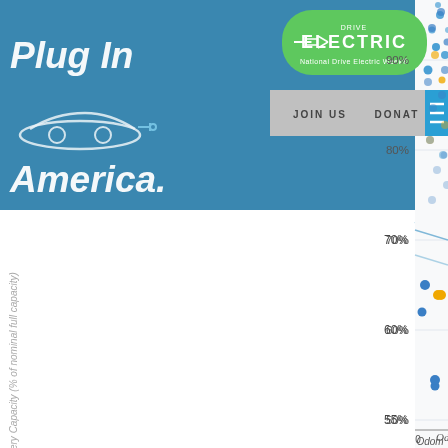[Figure (continuous-plot): Screenshot of a scatter plot from Plug In America website showing Battery Capacity (% of nominal full capacity) on y-axis (0% to 90%+) vs Odometer reading on x-axis (0 to 100,000+). Blue and orange data points scattered with a downward trend line. Website navigation overlays top portion including 'Plug In America' logo, 'Drive Electric / National Drive Electric Week' badge, JOIN US and DONATE buttons, and hamburger menu.]